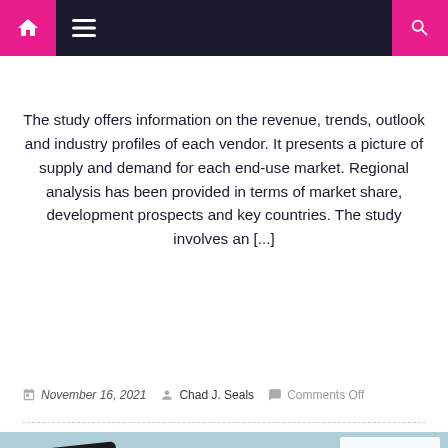Navigation bar with home, menu, and search icons
The study offers information on the revenue, trends, outlook and industry profiles of each vendor. It presents a picture of supply and demand for each end-use market. Regional analysis has been provided in terms of market share, development prospects and key countries. The study involves an [...]
November 16, 2021   Chad J. Seals   Comments Off
[Figure (photo): Photo showing financial documents with a bar chart, a line chart trending upward, a piggy bank, coins, a notebook with 'SUCCESS' written on it, a pen, and paper money on a light blue background.]